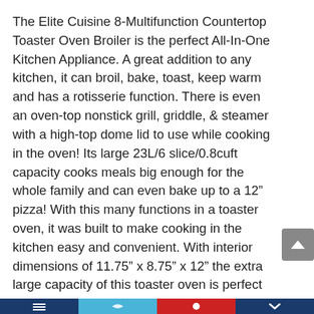The Elite Cuisine 8-Multifunction Countertop Toaster Oven Broiler is the perfect All-In-One Kitchen Appliance. A great addition to any kitchen, it can broil, bake, toast, keep warm and has a rotisserie function. There is even an oven-top nonstick grill, griddle, & steamer with a high-top dome lid to use while cooking in the oven! Its large 23L/6 slice/0.8cuft capacity cooks meals big enough for the whole family and can even bake up to a 12” pizza! With this many functions in a toaster oven, it was built to make cooking in the kitchen easy and convenient. With interior dimensions of 11.75” x 8.75” x 12” the extra large capacity of this toaster oven is perfect for your big holiday get-togethers or neighborhood parties. Consistent heating up to 450°F and 1500 Watts of power make this Countertop Toaster Oven Broiler the ultimate powerhouse!